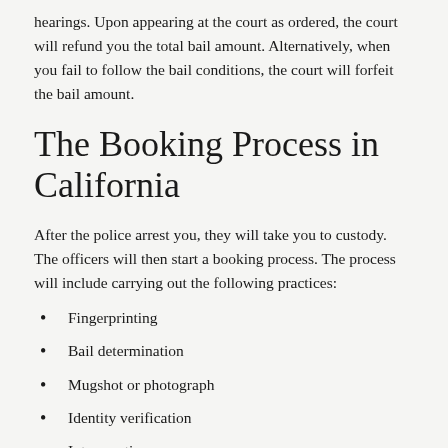hearings. Upon appearing at the court as ordered, the court will refund you the total bail amount. Alternatively, when you fail to follow the bail conditions, the court will forfeit the bail amount.
The Booking Process in California
After the police arrest you, they will take you to custody. The officers will then start a booking process. The process will include carrying out the following practices:
Fingerprinting
Bail determination
Mugshot or photograph
Identity verification
Interrogation
Formal charges
How California Bail is Set